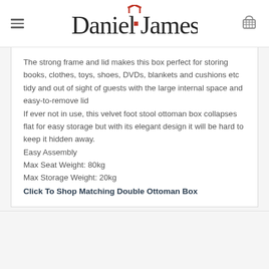Daniel James
The strong frame and lid makes this box perfect for storing books, clothes, toys, shoes, DVDs, blankets and cushions etc tidy and out of sight of guests with the large internal space and easy-to-remove lid
If ever not in use, this velvet foot stool ottoman box collapses flat for easy storage but with its elegant design it will be hard to keep it hidden away.
Easy Assembly
Max Seat Weight: 80kg
Max Storage Weight: 20kg
Click To Shop Matching Double Ottoman Box